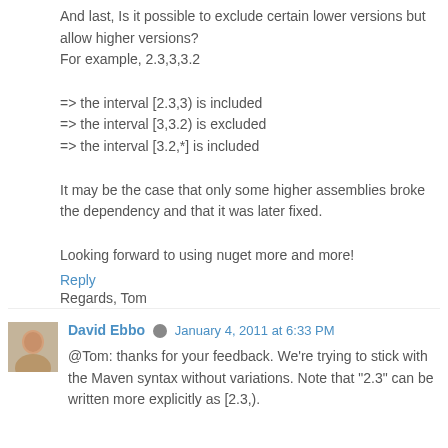And last, Is it possible to exclude certain lower versions but allow higher versions?
For example, 2.3,3,3.2

=> the interval [2.3,3) is included
=> the interval [3,3.2) is excluded
=> the interval [3.2,*] is included

It may be the case that only some higher assemblies broke the dependency and that it was later fixed.

Looking forward to using nuget more and more!

Regards, Tom
Reply
David Ebbo  January 4, 2011 at 6:33 PM
@Tom: thanks for your feedback. We're trying to stick with the Maven syntax without variations. Note that "2.3" can be written more explicitly as [2.3,).